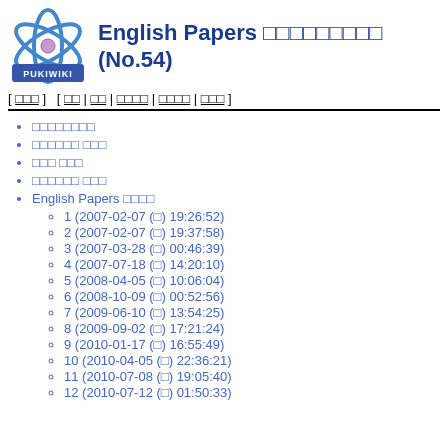English Papers □□□□□□□□□ (No.54)
[ □□□ ] [ □□ | □□ | □□□□ | □□□□ | □□□ ]
□□□□□□□□
□□□□□□ □□□
□□□ □□□
□□□□□□ □□□
English Papers □□□□
1 (2007-02-07 (□) 19:26:52)
2 (2007-02-07 (□) 19:37:58)
3 (2007-03-28 (□) 00:46:39)
4 (2007-07-18 (□) 14:20:10)
5 (2008-04-05 (□) 10:06:04)
6 (2008-10-09 (□) 00:52:56)
7 (2009-06-10 (□) 13:54:25)
8 (2009-09-02 (□) 17:21:24)
9 (2010-01-17 (□) 16:55:49)
10 (2010-04-05 (□) 22:36:21)
11 (2010-07-08 (□) 19:05:40)
12 (2010-07-12 (□) 01:50:33)